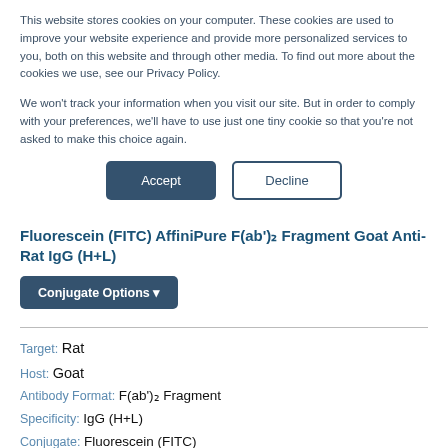This website stores cookies on your computer. These cookies are used to improve your website experience and provide more personalized services to you, both on this website and through other media. To find out more about the cookies we use, see our Privacy Policy.
We won't track your information when you visit our site. But in order to comply with your preferences, we'll have to use just one tiny cookie so that you're not asked to make this choice again.
Accept | Decline
Fluorescein (FITC) AffiniPure F(ab')2 Fragment Goat Anti-Rat IgG (H+L)
Conjugate Options
Target: Rat
Host: Goat
Antibody Format: F(ab')2 Fragment
Specificity: IgG (H+L)
Conjugate: Fluorescein (FITC)